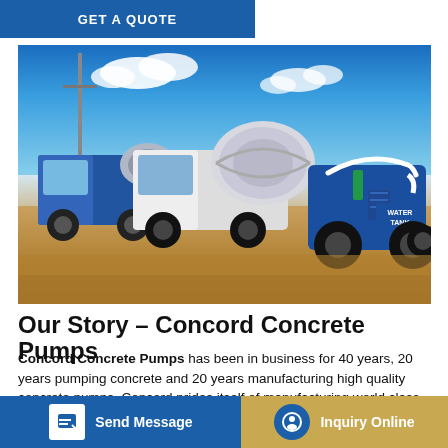GET A QUOTE
[Figure (photo): Outdoor photo of blue and white concrete mixer trucks and a blue concrete pumping vehicle lined up on a dirt construction site under a partly cloudy blue sky. The vehicle on the right has markings reading 'WATER TANK'.]
Our Story – Concord Concrete Pumps
Concord Concrete Pumps has been in business for 40 years, 20 years pumping concrete and 20 years manufacturing high quality concrete pumps. Concord prides itself of manufacturing world class equipment. Concord stands alone in creating the most effective [concrete] pumping industry.
Send Message
Inquiry Online